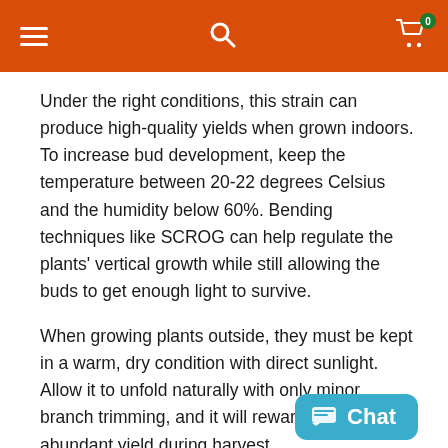Navigation bar with hamburger menu, search icon, and cart icon with badge 0
Under the right conditions, this strain can produce high-quality yields when grown indoors. To increase bud development, keep the temperature between 20-22 degrees Celsius and the humidity below 60%. Bending techniques like SCROG can help regulate the plants' vertical growth while still allowing the buds to get enough light to survive.
When growing plants outside, they must be kept in a warm, dry condition with direct sunlight. Allow it to unfold naturally with only minor branch trimming, and it will reward you with abundant yield during harvest.
[Figure (screenshot): Chat button widget in teal/cyan color at bottom right of page]